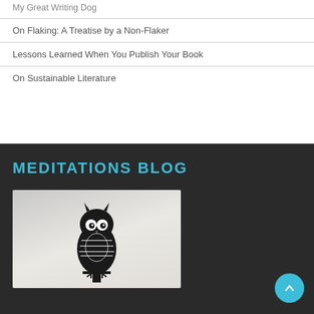My Great Writing Dog
On Flaking: A Treatise by a Non-Flaker
Lessons Learned When You Publish Your Book
On Sustainable Literature
MEDITATIONS BLOG
[Figure (illustration): Black and white woodcut-style illustration of an owl perched on a post against a light gradient background]